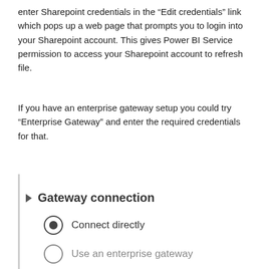enter Sharepoint credentials in the “Edit credentials” link which pops up a web page that prompts you to login into your Sharepoint account. This gives Power BI Service permission to access your Sharepoint account to refresh file.
If you have an enterprise gateway setup you could try “Enterprise Gateway” and enter the required credentials for that.
[Figure (screenshot): Screenshot of Gateway connection UI panel showing a triangle/arrow icon and 'Gateway connection' heading, with two radio button options: 'Connect directly' (selected) and 'Use an enterprise gateway'.]